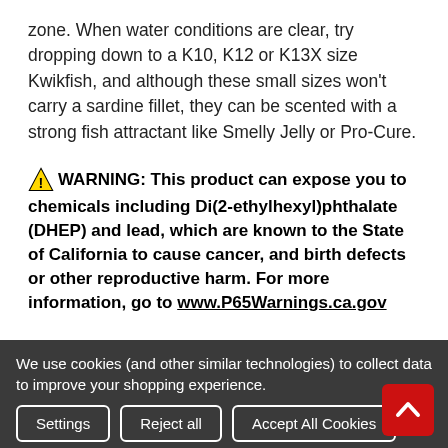zone. When water conditions are clear, try dropping down to a K10, K12 or K13X size Kwikfish, and although these small sizes won't carry a sardine fillet, they can be scented with a strong fish attractant like Smelly Jelly or Pro-Cure.
⚠ WARNING: This product can expose you to chemicals including Di(2-ethylhexyl)phthalate (DHEP) and lead, which are known to the State of California to cause cancer, and birth defects or other reproductive harm. For more information, go to www.P65Warnings.ca.gov
We use cookies (and other similar technologies) to collect data to improve your shopping experience.